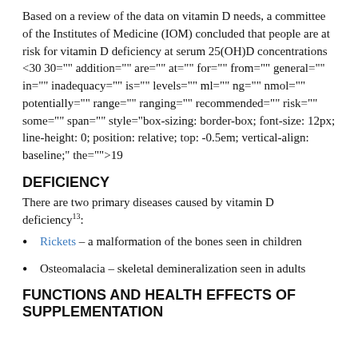Based on a review of the data on vitamin D needs, a committee of the Institutes of Medicine (IOM) concluded that people are at risk for vitamin D deficiency at serum 25(OH)D concentrations <30 30="" addition="" are="" at="" for="" from="" general="" in="" inadequacy="" is="" levels="" ml="" ng="" nmol="" potentially="" range="" ranging="" recommended="" risk="" some="" span="" style="box-sizing: border-box; font-size: 12px; line-height: 0; position: relative; top: -0.5em; vertical-align: baseline;" the="">19
DEFICIENCY
There are two primary diseases caused by vitamin D deficiency13:
Rickets – a malformation of the bones seen in children
Osteomalacia – skeletal demineralization seen in adults
FUNCTIONS AND HEALTH EFFECTS OF SUPPLEMENTATION